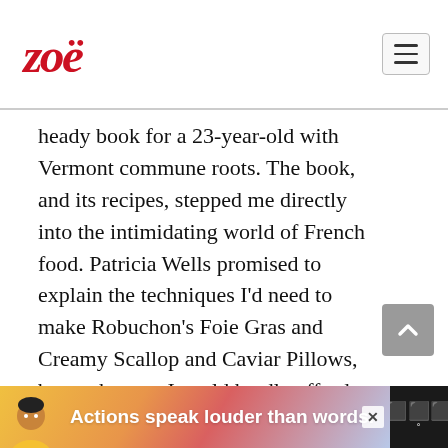Zoë [logo]
heady book for a 23-year-old with Vermont commune roots. The book, and its recipes, stepped me directly into the intimidating world of French food. Patricia Wells promised to explain the techniques I'd need to make Robuchon's Foie Gras and Creamy Scallop and Caviar Pillows, but at that age I could hardly afford to buy the ingredients, let alone all the equipment I'd need to make them. So, as is true to my nature, I flipped to the back of the book, to all
[Figure (other): Advertisement banner reading 'Actions speak louder than words.' with an illustration of a person and a logo on the right.]